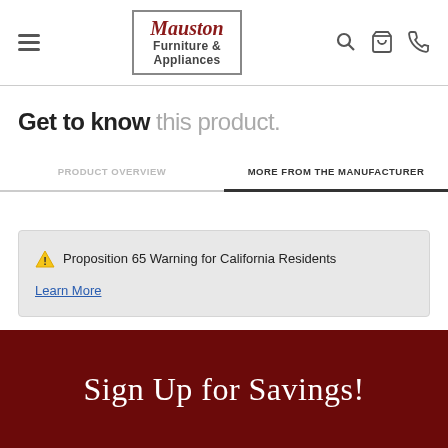Mauston Furniture & Appliances
Get to know this product.
PRODUCT OVERVIEW | MORE FROM THE MANUFACTURER
⚠ Proposition 65 Warning for California Residents
Learn More
Sign Up for Savings!